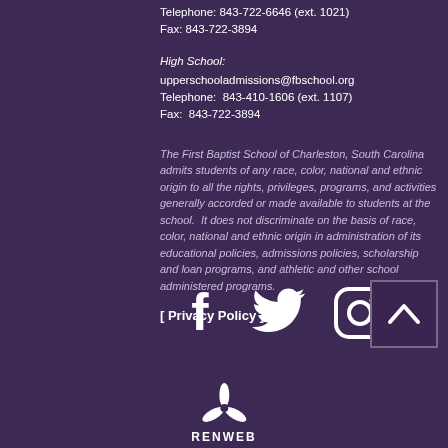Telephone: 843-722-6646 (ext. 1021)
Fax: 843-722-3894
High School:
upperschooladmissions@fbschool.org
Telephone:  843-410-1606 (ext. 1107)
Fax:  843-722-3894
The First Baptist School of Charleston, South Carolina admits students of any race, color, national and ethnic origin to all the rights, privileges, programs, and activities generally accorded or made available to students at the school.  It does not discriminate on the basis of race, color, national and ethnic origin in administration of its educational policies, admissions policies, scholarship and loan programs, and athletic and other school administered programs.
[ Privacy Policy ]
[Figure (logo): Social media icons: Facebook, Twitter, Instagram, and a back-to-top arrow button]
[Figure (logo): Renweb logo with three-blade propeller icon and text RENWEB]